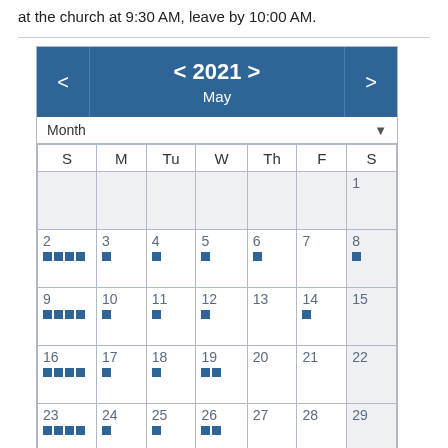at the church at 9:30 AM, leave by 10:00 AM.
[Figure (other): Monthly calendar widget showing May 2021 with navigation arrows, view selector (Month), day-of-week headers (S M Tu W Th F S), and date cells from 1–31 with small blue square indicators on certain dates.]